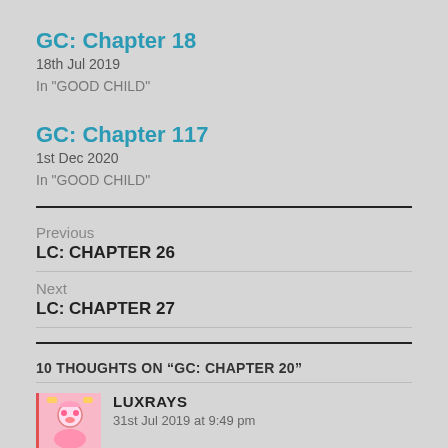GC: Chapter 18
18th Jul 2019
In "GOOD CHILD"
GC: Chapter 117
1st Dec 2020
In "GOOD CHILD"
Previous
LC: CHAPTER 26
Next
LC: CHAPTER 27
10 THOUGHTS ON “GC: CHAPTER 20”
LUXRAYS
31st Jul 2019 at 9:49 pm